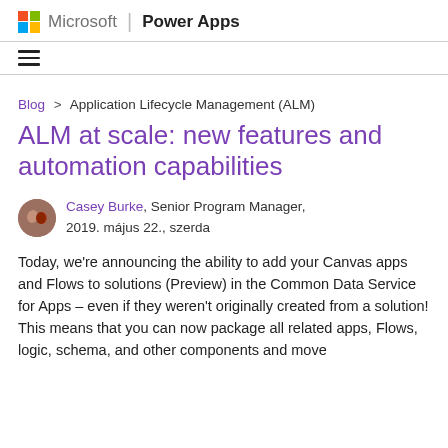Microsoft | Power Apps
Blog > Application Lifecycle Management (ALM)
ALM at scale: new features and automation capabilities
Casey Burke, Senior Program Manager, 2019. május 22., szerda
Today, we're announcing the ability to add your Canvas apps and Flows to solutions (Preview) in the Common Data Service for Apps – even if they weren't originally created from a solution! This means that you can now package all related apps, Flows, logic, schema, and other components and move